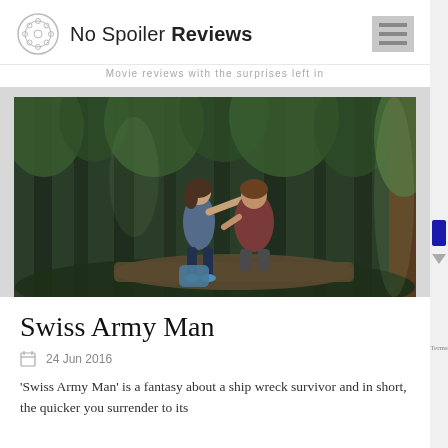No Spoiler Reviews — Movie reviews with the surprises left in
[Figure (photo): Two people (a man and a woman) sitting on a log in a dense green forest, the woman pointing outward. Scene from the film Swiss Army Man.]
Swiss Army Man
24 Jun 2016
'Swiss Army Man' is a fantasy about a ship wreck survivor and in short, the quicker you surrender to its